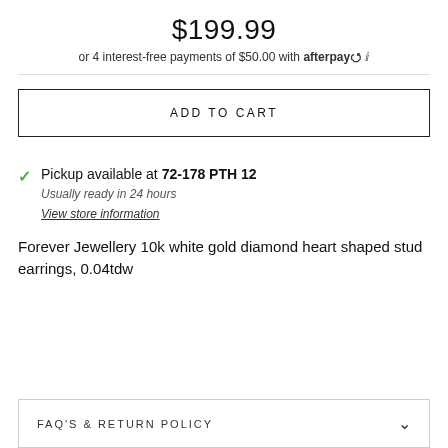$199.99
or 4 interest-free payments of $50.00 with afterpay ℹ
ADD TO CART
Pickup available at 72-178 PTH 12
Usually ready in 24 hours
View store information
Forever Jewellery 10k white gold diamond heart shaped stud earrings, 0.04tdw
FAQ'S & RETURN POLICY